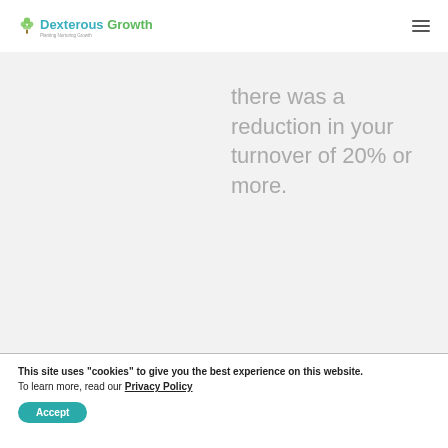Dexterous Growth
there was a reduction in your turnover of 20% or more.
This site uses "cookies" to give you the best experience on this website.
To learn more, read our Privacy Policy
Accept